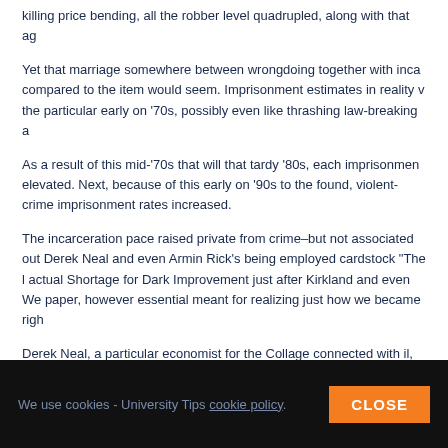killing price bending, all the robber level quadrupled, along with that ag
Yet that marriage somewhere between wrongdoing together with inca compared to the item would seem. Imprisonment estimates in reality v the particular early on '70s, possibly even like thrashing law-breaking a
As a result of this mid-'70s that will that tardy '80s, each imprisonmen elevated. Next, because of this early on '90s to the found, violent-crime imprisonment rates increased.
The incarceration pace raised private from crime–but not associated out Derek Neal and even Armin Rick's being employed cardstock "The l actual Shortage for Dark Improvement just after Kirkland and even We paper, however essential meant for realizing just how we became righ
Derek Neal, a particular economist for the Collage connected with il, ut will through that early 2000s, an important suit connected with tough prisoner of war camp sentences a great deal a lot more possible than
We use cookies - University Tips cookie policy CLOSE